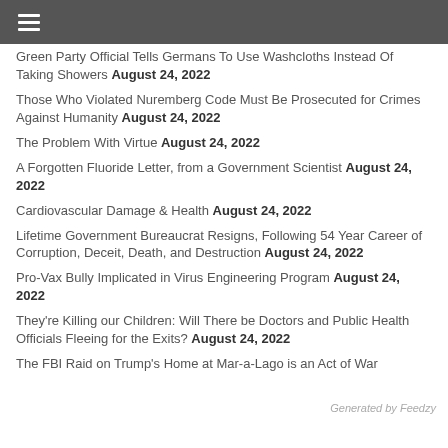≡
Green Party Official Tells Germans To Use Washcloths Instead Of Taking Showers August 24, 2022
Those Who Violated Nuremberg Code Must Be Prosecuted for Crimes Against Humanity August 24, 2022
The Problem With Virtue August 24, 2022
A Forgotten Fluoride Letter, from a Government Scientist August 24, 2022
Cardiovascular Damage & Health August 24, 2022
Lifetime Government Bureaucrat Resigns, Following 54 Year Career of Corruption, Deceit, Death, and Destruction August 24, 2022
Pro-Vax Bully Implicated in Virus Engineering Program August 24, 2022
They're Killing our Children: Will There be Doctors and Public Health Officials Fleeing for the Exits? August 24, 2022
The FBI Raid on Trump's Home at Mar-a-Lago is an Act of War
Generated by Feedzy